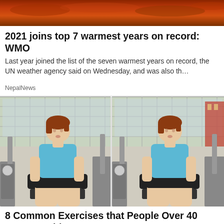[Figure (photo): Top banner image with dark orange/red fiery sky background]
2021 joins top 7 warmest years on record: WMO
Last year joined the list of the seven warmest years on record, the UN weather agency said on Wednesday, and was also th…
NepalNews
[Figure (photo): Two side-by-side photos of a woman with short red hair wearing a blue sleeveless top and black shorts, sitting on a gym leg press/extension machine]
8 Common Exercises that People Over 40 MUST Avoid